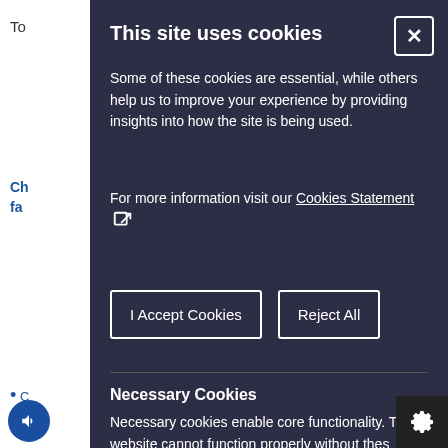This site uses cookies
Some of these cookies are essential, while others help us to improve your experience by providing insights into how the site is being used.
For more information visit our Cookies Statement [external link icon]
I Accept Cookies
Reject All
Necessary Cookies
Necessary cookies enable core functionality. The website cannot function properly without these cookies, and can only be disabled by chan